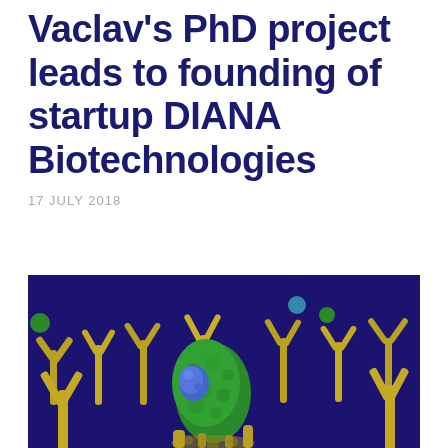Vaclav's PhD project leads to founding of startup DIANA Biotechnologies
17 JULY 2018
[Figure (illustration): 3D scientific illustration showing molecular biology scene: yellow antibody-like tree structures on a dark navy/purple background, with green and blue molecular blob structures in the center and attached to some of the yellow structures, representing binding interactions at a cellular level.]